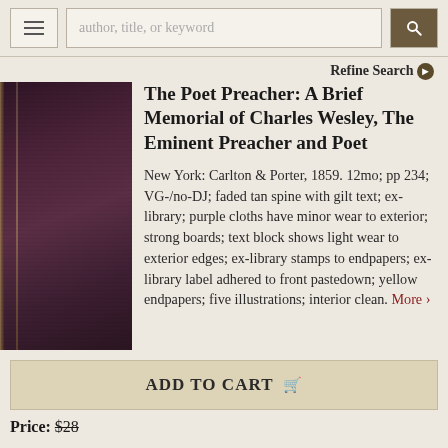author, title, or keyword
Refine Search
The Poet Preacher: A Brief Memorial of Charles Wesley, The Eminent Preacher and Poet
New York: Carlton & Porter, 1859. 12mo; pp 234; VG-/no-DJ; faded tan spine with gilt text; ex-library; purple cloths have minor wear to exterior; strong boards; text block shows light wear to exterior edges; ex-library stamps to endpapers; ex-library label adhered to front pastedown; yellow endpapers; five illustrations; interior clean. More ›
[Figure (photo): Dark purple/maroon cloth-bound book shown from the spine/cover angle]
ADD TO CART
Price: $28